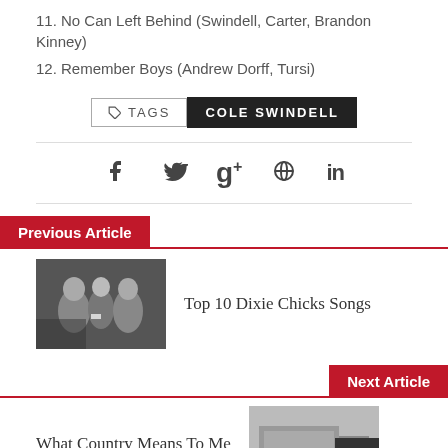11. No Can Left Behind (Swindell, Carter, Brandon Kinney)
12. Remember Boys (Andrew Dorff, Tursi)
TAGS  COLE SWINDELL
[Figure (infographic): Social share icons: Facebook, Twitter, Google+, Pinterest, LinkedIn]
Previous Article
[Figure (photo): Black and white photo of three women (Dixie Chicks)]
Top 10 Dixie Chicks Songs
Next Article
What Country Means To Me